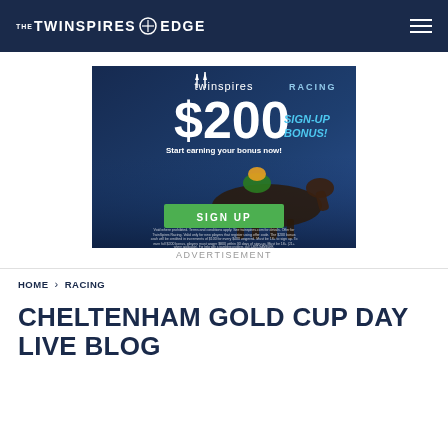THE TWINSPIRES EDGE
[Figure (illustration): TwinSpires Racing $200 Sign-Up Bonus advertisement banner with jockey on horse, green SIGN UP button, and fine print at bottom.]
ADVERTISEMENT
HOME > RACING
CHELTENHAM GOLD CUP DAY LIVE BLOG